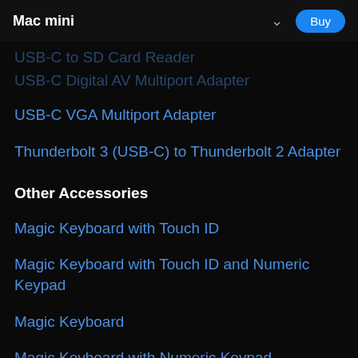Mac mini
USB-C to SD Card Reader
USB-C Digital AV Multiport Adapter
USB-C VGA Multiport Adapter
Thunderbolt 3 (USB-C) to Thunderbolt 2 Adapter
Other Accessories
Magic Keyboard with Touch ID
Magic Keyboard with Touch ID and Numeric Keypad
Magic Keyboard
Magic Keyboard with Numeric Keypad
Magic Mouse
Magic Trackpad
USB-C to Lightning Cable
Thunderbolt 3 (USB-C) Cable (0.8 m)